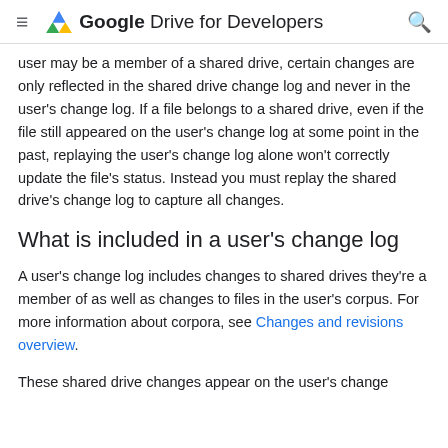Google Drive for Developers
user may be a member of a shared drive, certain changes are only reflected in the shared drive change log and never in the user's change log. If a file belongs to a shared drive, even if the file still appeared on the user's change log at some point in the past, replaying the user's change log alone won't correctly update the file's status. Instead you must replay the shared drive's change log to capture all changes.
What is included in a user's change log
A user's change log includes changes to shared drives they're a member of as well as changes to files in the user's corpus. For more information about corpora, see Changes and revisions overview.
These shared drive changes appear on the user's change